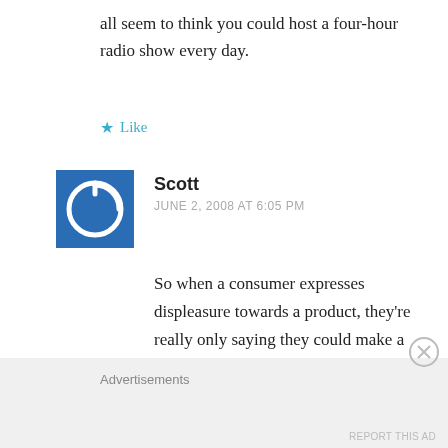all seem to think you could host a four-hour radio show every day.
★ Like
Scott
JUNE 2, 2008 AT 6:05 PM
So when a consumer expresses displeasure towards a product, they're really only saying they could make a better product themselves?
Advertisements